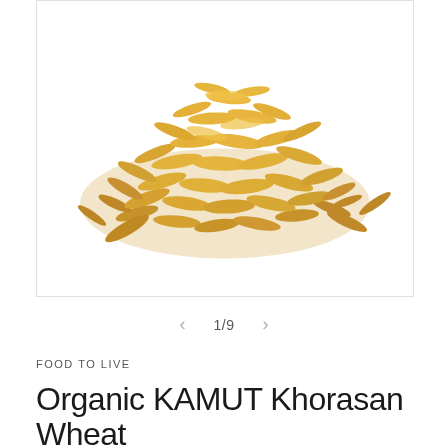[Figure (photo): A pile of organic KAMUT Khorasan wheat grains photographed on a white background. The grains are elongated, golden-brown in color, and form a mound shape.]
1/9
FOOD TO LIVE
Organic KAMUT Khorasan Wheat